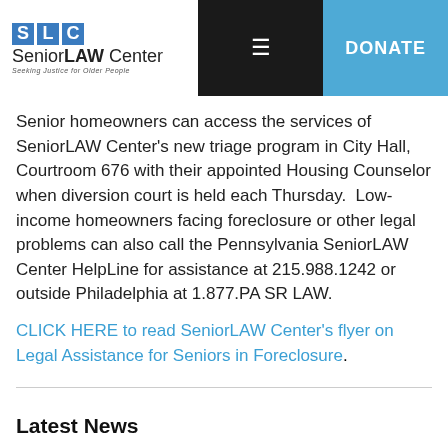SeniorLAW Center — Seeking Justice for Older People | DONATE
Senior homeowners can access the services of SeniorLAW Center's new triage program in City Hall, Courtroom 676 with their appointed Housing Counselor when diversion court is held each Thursday.  Low-income homeowners facing foreclosure or other legal problems can also call the Pennsylvania SeniorLAW Center HelpLine for assistance at 215.988.1242 or outside Philadelphia at 1.877.PA SR LAW.
CLICK HERE to read SeniorLAW Center's flyer on Legal Assistance for Seniors in Foreclosure.
Latest News